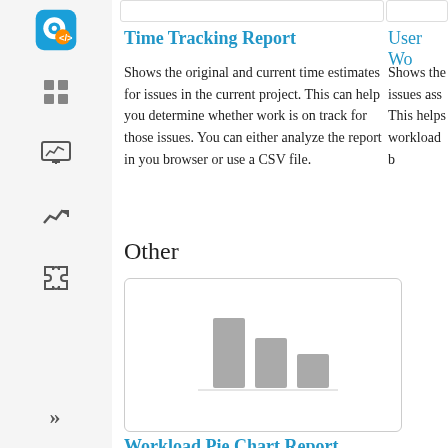[Figure (screenshot): Sidebar navigation with icons: app icon (purple/orange), grid, monitor, chart, puzzle piece icons, and chevron at bottom]
Time Tracking Report
Shows the original and current time estimates for issues in the current project. This can help you determine whether work is on track for those issues. You can either analyze the report in you browser or use a CSV file.
Other
[Figure (bar-chart): Thumbnail preview of a bar chart with 3 gray bars of descending height]
Workload Pie Chart Report